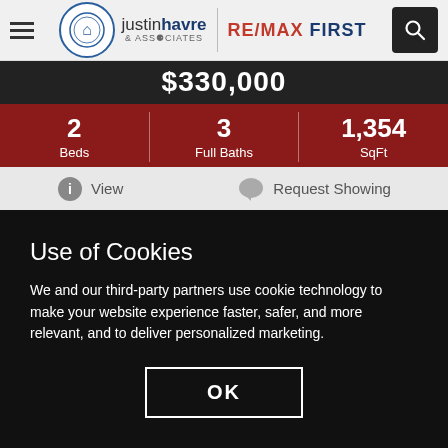justin havre & ASSOCIATES | RE/MAX FIRST
$330,000
2 Beds | 3 Full Baths | 1,354 SqFt
View   Request Showing
Use of Cookies
We and our third-party partners use cookie technology to make your website experience faster, safer, and more relevant, and to deliver personalized marketing.
OK